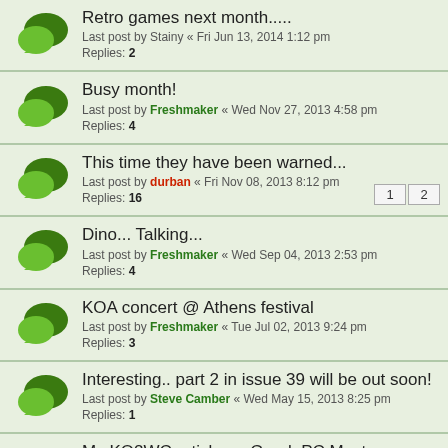Retro games next month.....
Last post by Stainy « Fri Jun 13, 2014 1:12 pm
Replies: 2
Busy month!
Last post by Freshmaker « Wed Nov 27, 2013 4:58 pm
Replies: 4
This time they have been warned...
Last post by durban « Fri Nov 08, 2013 8:12 pm
Replies: 16
Dino... Talking...
Last post by Freshmaker « Wed Sep 04, 2013 2:53 pm
Replies: 4
KOA concert @ Athens festival
Last post by Freshmaker « Tue Jul 02, 2013 9:24 pm
Replies: 3
Interesting.. part 2 in issue 39 will be out soon!
Last post by Steve Camber « Wed May 15, 2013 8:25 pm
Replies: 1
My KO2WC article on Greek PC Master magazine (translated)
Last post by Torchiador « Mon Dec 31, 2012 1:05 am